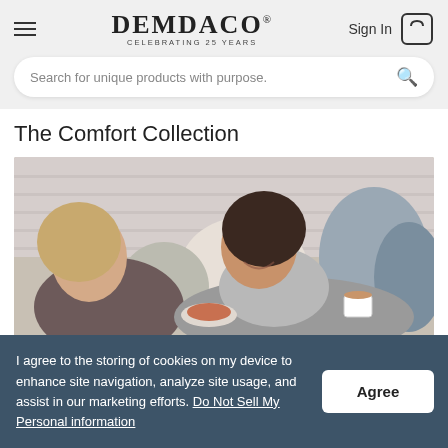DEMDACO CELEBRATING 25 YEARS | Sign In
Search for unique products with purpose.
The Comfort Collection
[Figure (photo): Two women laughing and relaxing on a couch with pillows, one holding a cup of coffee and the other holding a plate of food.]
I agree to the storing of cookies on my device to enhance site navigation, analyze site usage, and assist in our marketing efforts. Do Not Sell My Personal information